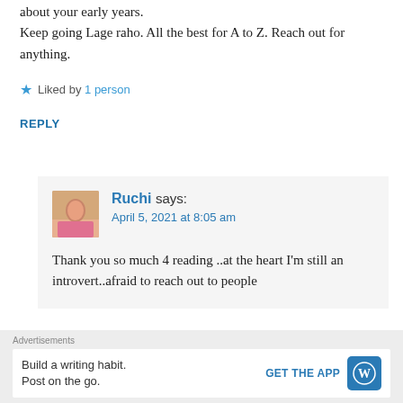about your early years. Keep going Lage raho. All the best for A to Z. Reach out for anything.
★ Liked by 1 person
REPLY
[Figure (screenshot): Comment by Ruchi with avatar photo]
Ruchi says: April 5, 2021 at 8:05 am
Thank you so much 4 reading ..at the heart I'm still an introvert..afraid to reach out to people
Advertisements Build a writing habit. Post on the go. GET THE APP